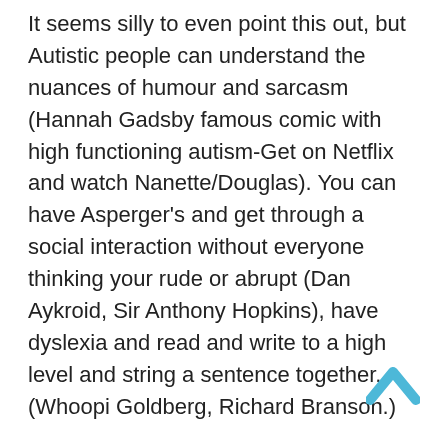It seems silly to even point this out, but Autistic people can understand the nuances of humour and sarcasm (Hannah Gadsby famous comic with high functioning autism-Get on Netflix and watch Nanette/Douglas). You can have Asperger's and get through a social interaction without everyone thinking your rude or abrupt (Dan Aykroid, Sir Anthony Hopkins), have dyslexia and read and write to a high level and string a sentence together. (Whoopi Goldberg, Richard Branson.)
Let's take Jack Bouer in 24 as a prime example of things not being that accurate on screen. When was the last time you saw him do his expenses? Argue with his colleagues about who's doing the Christmas shift this year. Get shouted at by his manager because he hasn't done his mandatory health and safety training. Never. In 24 hours he dopes not even go to the loo! And why? Well it wouldn't make for a very good action film. Comedy maybe. Seeing Jack Bouer stomping
[Figure (other): A blue upward-pointing chevron/arrow icon in the bottom-right corner of the page, used as a scroll-to-top button.]